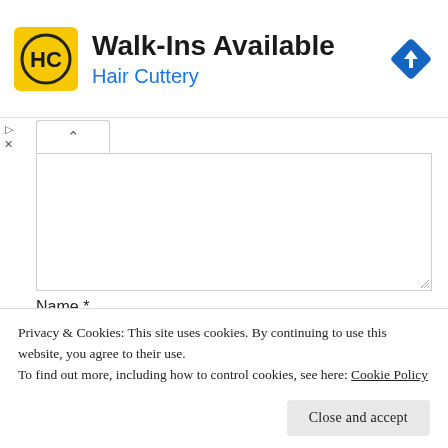[Figure (infographic): Hair Cuttery ad banner with yellow HC logo, 'Walk-Ins Available' title, 'Hair Cuttery' subtitle in blue, and a blue navigation diamond icon on the right]
[Figure (screenshot): Collapsed textarea with a caret-up button at top-left and resize handle at bottom-right]
Name *
[Figure (screenshot): Text input field for Name]
Privacy & Cookies: This site uses cookies. By continuing to use this website, you agree to their use.
To find out more, including how to control cookies, see here: Cookie Policy
Close and accept